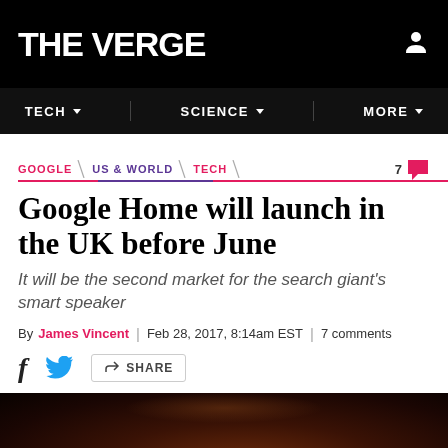THE VERGE
TECH | SCIENCE | MORE
GOOGLE / US & WORLD / TECH
Google Home will launch in the UK before June
It will be the second market for the search giant's smart speaker
By James Vincent | Feb 28, 2017, 8:14am EST | 7 comments
SHARE
[Figure (photo): Bottom photo strip showing a dark background with what appears to be a Google Home device]